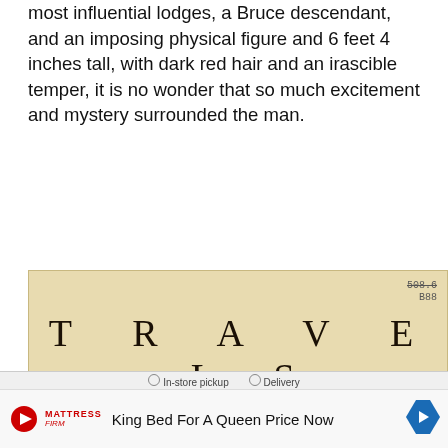most influential lodges, a Bruce descendant, and an imposing physical figure and 6 feet 4 inches tall, with dark red hair and an irascible temper, it is no wonder that so much excitement and mystery surrounded the man.
[Figure (photo): Title page of 'Travels to Discover the Source of the Nile, In the Years 1768, 1769, 1770, 1771, 1772, and 1773. In Five Volumes. By James Bruce of Kinnaird, Esq. F.R.S.' on aged yellowish paper with a library stamp '508.6 B88' in the upper right corner.]
King Bed For A Queen Price Now